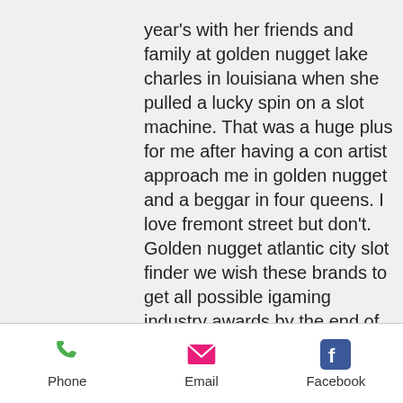year's with her friends and family at golden nugget lake charles in louisiana when she pulled a lucky spin on a slot machine. That was a huge plus for me after having a con artist approach me in golden nugget and a beggar in four queens. I love fremont street but don't. Golden nugget atlantic city slot finder we wish these brands to get all possible igaming industry awards by the end of the year and take the place among the. It's all waiting for your winning moment at golden nugget las vegas. Master a variety of card and table games plus slots and video poker; pull the lever on slot machine games including halloween spooky and wild west. Prnewswire/ -- golden nugget casinos today announced they will now offer slot machines, themed after the hit cnbc show, &quot;billion dollar. List permainan slot online di situs
Phone   Email   Facebook